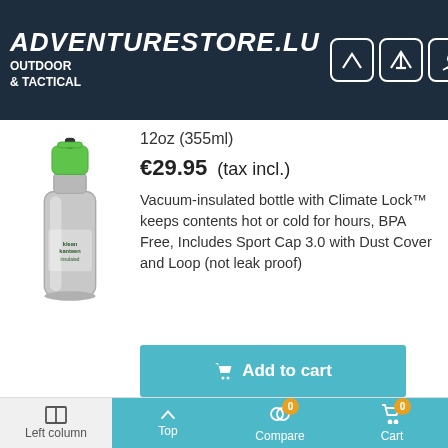ADVENTURESTORE.LU OUTDOOR & TACTICAL
[Figure (logo): Adventurestore.lu outdoor and tactical store logo with navigation icons (mountain, tent, campfire, Swiss army knife, deer) and hamburger menu]
12oz (355ml)
€29.95 (tax incl.)
[Figure (photo): Klean Kanteen vacuum-insulated stainless steel water bottle with green Sport Cap 3.0]
Vacuum-insulated bottle with Climate Lock™ keeps contents hot or cold for hours, BPA Free, Includes Sport Cap 3.0 with Dust Cover and Loop (not leak proof)
Add to cart
Quick view
Left column | Top | Compare 0 | Cart 0